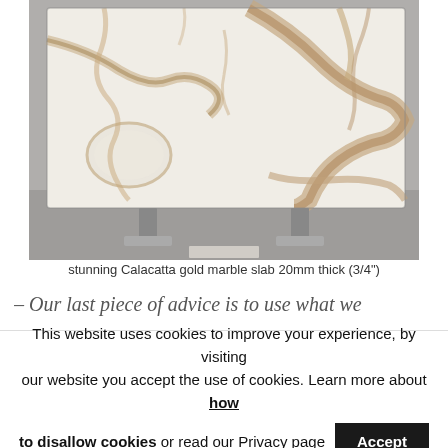[Figure (photo): A large white Calacatta gold marble slab with golden-brown veining, displayed upright on metal stands against a grey warehouse background.]
stunning Calacatta gold marble slab 20mm thick (3/4")
– Our last piece of advice is to use what we
This website uses cookies to improve your experience, by visiting our website you accept the use of cookies. Learn more about how to disallow cookies or read our Privacy page